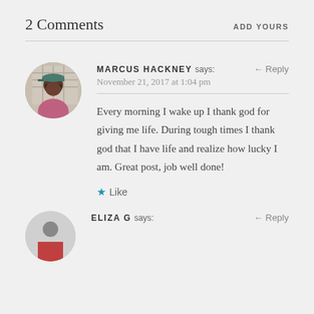2 Comments
ADD YOURS
MARCUS HACKNEY says:
November 21, 2017 at 1:04 pm
Reply
Every morning I wake up I thank god for giving me life. During tough times I thank god that I have life and realize how lucky I am. Great post, job well done!
Like
ELIZA G says:
Reply